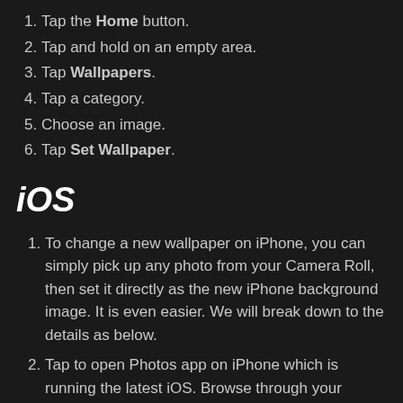Tap the Home button.
Tap and hold on an empty area.
Tap Wallpapers.
Tap a category.
Choose an image.
Tap Set Wallpaper.
iOS
To change a new wallpaper on iPhone, you can simply pick up any photo from your Camera Roll, then set it directly as the new iPhone background image. It is even easier. We will break down to the details as below.
Tap to open Photos app on iPhone which is running the latest iOS. Browse through your Camera Roll folder on iPhone to find your favorite photo which you like to use as a [social icons] ot Wallpaper. Tap to